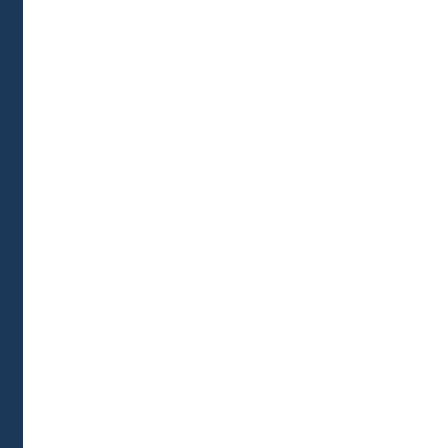[Figure (photo): Body Butter product container, white/cream colored jar, partially visible at top]
soothing properties... overall elasticity.
[Figure (photo): Hand Repair Cream tube/bottle, white, with cross symbol]
Hand Repa... CoQ10-   2...
Intensive treatment and wait 2min as hands deeply mo...
[Figure (photo): Lavender Essential Oil, dark blue bottle]
Lavender E...
One drop directly scarring. A few dr... calming and uplif... avoids scarring. O... oil for massage. T... permanent stretc... scent. A few drop... insect repellent. A... deodorizer and cl...
[Figure (photo): Lavender Facial Cleanser pump bottle, white]
Lavender F... Brightening...
Good for all skin... Mild yet effective the whole face ar... family! Size 3.4oz...